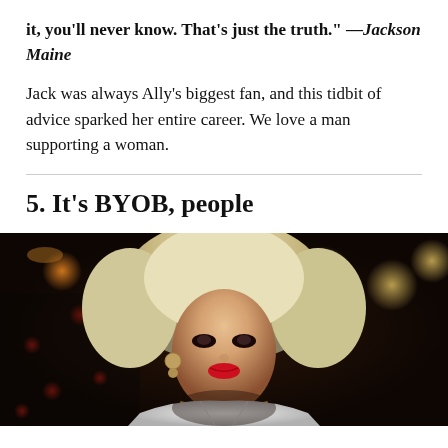it, you'll never know. That's just the truth." —Jackson Maine
Jack was always Ally's biggest fan, and this tidbit of advice sparked her entire career. We love a man supporting a woman.
5. It's BYOB, people
[Figure (photo): A person in drag with large blonde hair, heavy eye makeup, red lipstick, gold necklace, and a white jacket, photographed in a dimly lit venue with bokeh lights in the background including red and warm yellow/gold light sources.]